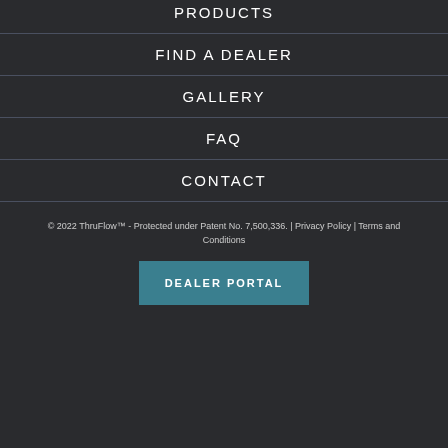PRODUCTS
FIND A DEALER
GALLERY
FAQ
CONTACT
© 2022 ThruFlow™ - Protected under Patent No. 7,500,336. | Privacy Policy | Terms and Conditions
DEALER PORTAL